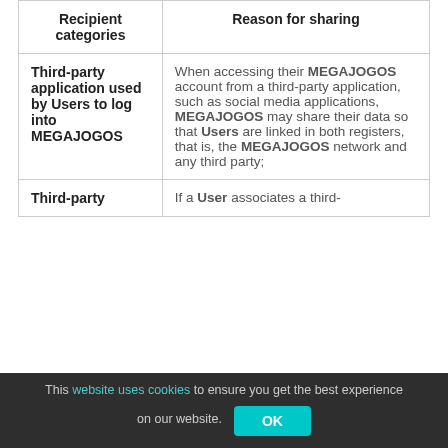| Recipient categories | Reason for sharing |
| --- | --- |
| Third-party application used by Users to log into MEGAJOGOS | When accessing their MEGAJOGOS account from a third-party application, such as social media applications, MEGAJOGOS may share their data so that Users are linked in both registers, that is, the MEGAJOGOS network and any third party; |
| Third-party | If a User associates a third- |
This website uses cookies to ensure you get the best experience on our website. OK